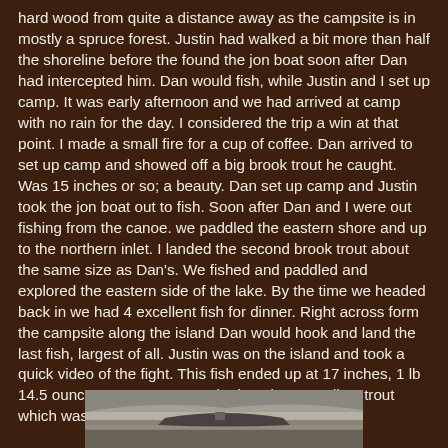hard wood from quite a distance away as the campsite is in mostly a spruce forest. Justin had walked a bit more than half the shoreline before the found the jon boat soon after Dan had intercepted him. Dan would fish, while Justin and I set up camp. It was early afternoon and we had arrived at camp with no rain for the day. I considered the trip a win at that point. I made a small fire for a cup of coffee. Dan arrived to set up camp and showed off a big brook trout he caught. Was 15 inches or so; a beauty. Dan set up camp and Justin took the jon boat out to fish. Soon after Dan and I were out fishing from the canoe. we paddled the eastern shore and up to the northern inlet. I landed the second brook trout about the same size as Dan's. We fished and paddled and explored the eastern side of the lake. By the time we headed back in we had 4 excellent fish for dinner. Right across form the campsite along the island Dan would hook and land the last fish, largest of all. Justin was on the island and took a quick video of the fight. This fish ended up at 17 inches, 1 lb 14.5 ounces. At camp we cooked up the 3 smallest trout which was almost too much for the 3 of us to eat.
[Figure (photo): A black and white photo showing what appears to be a boat or canoe on water, partially visible at the bottom of the page.]